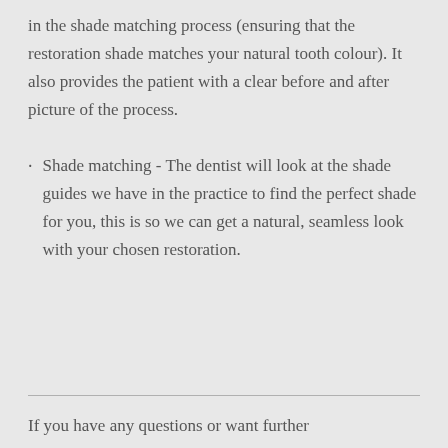in the shade matching process (ensuring that the restoration shade matches your natural tooth colour). It also provides the patient with a clear before and after picture of the process.
Shade matching - The dentist will look at the shade guides we have in the practice to find the perfect shade for you, this is so we can get a natural, seamless look with your chosen restoration.
If you have any questions or want further